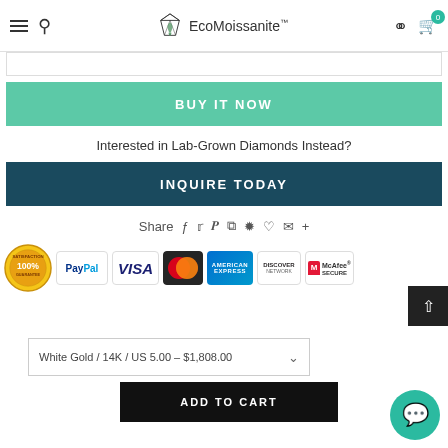EcoMoissanite™ — navigation bar with hamburger, search, logo, user, cart
[Figure (screenshot): Search input bar]
BUY IT NOW
Interested in Lab-Grown Diamonds Instead?
INQUIRE TODAY
Share (social icons: facebook, twitter, pinterest, grid, anchor, heart, email, plus)
[Figure (logo): Payment method logos: 100% Satisfaction Guarantee badge, PayPal, VISA, MasterCard, American Express, Discover Network, McAfee SECURE]
White Gold / 14K / US 5.00 – $1,808.00
ADD TO CART